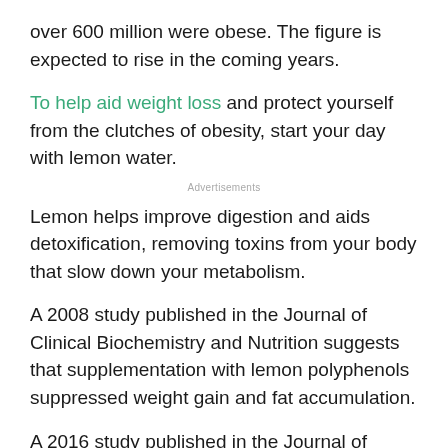over 600 million were obese. The figure is expected to rise in the coming years.
To help aid weight loss and protect yourself from the clutches of obesity, start your day with lemon water.
Advertisements
Lemon helps improve digestion and aids detoxification, removing toxins from your body that slow down your metabolism.
A 2008 study published in the Journal of Clinical Biochemistry and Nutrition suggests that supplementation with lemon polyphenols suppressed weight gain and fat accumulation.
A 2016 study published in the Journal of Ayurveda and Integrative Medicine suggests that drinking lemon juice could be an antidote to a number of fatty-acid...